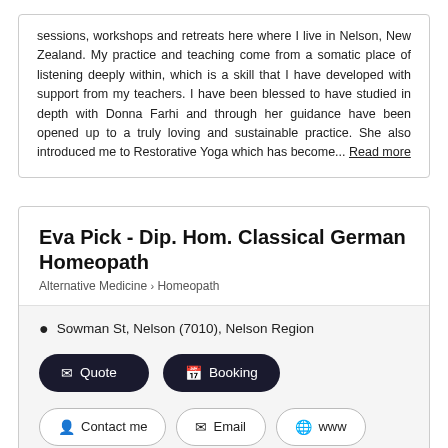sessions, workshops and retreats here where I live in Nelson, New Zealand. My practice and teaching come from a somatic place of listening deeply within, which is a skill that I have developed with support from my teachers. I have been blessed to have studied in depth with Donna Farhi and through her guidance have been opened up to a truly loving and sustainable practice. She also introduced me to Restorative Yoga which has become... Read more
Eva Pick - Dip. Hom. Classical German Homeopath
Alternative Medicine › Homeopath
Sowman St, Nelson (7010), Nelson Region
Quote
Booking
Contact me
Email
www
I am a Classical German Homeopath, practicing in Nelson, New